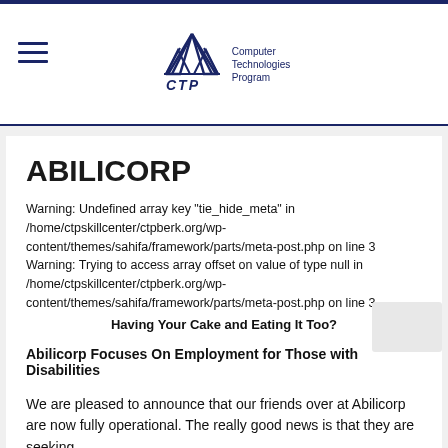CTP Computer Technologies Program
ABILICORP
Warning: Undefined array key "tie_hide_meta" in /home/ctpskillcenter/ctpberk.org/wp-content/themes/sahifa/framework/parts/meta-post.php on line 3 Warning: Trying to access array offset on value of type null in /home/ctpskillcenter/ctpberk.org/wp-content/themes/sahifa/framework/parts/meta-post.php on line 3
Having Your Cake and Eating It Too?
Abilicorp Focuses On Employment for Those with Disabilities
We are pleased to announce that our friends over at Abilicorp are now fully operational. The really good news is that they are seeking